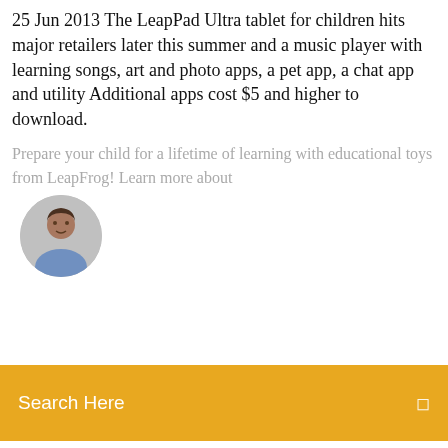25 Jun 2013 The LeapPad Ultra tablet for children hits major retailers later this summer and a music player with learning songs, art and photo apps, a pet app, a chat app and utility Additional apps cost $5 and higher to download.
[Figure (photo): Circular avatar photo of a man]
Prepare your child for a lifetime of learning with educational toys from LeapFrog! Learn more about
Search Here
Category
Android chrome hide download files
Ffxi download trial version